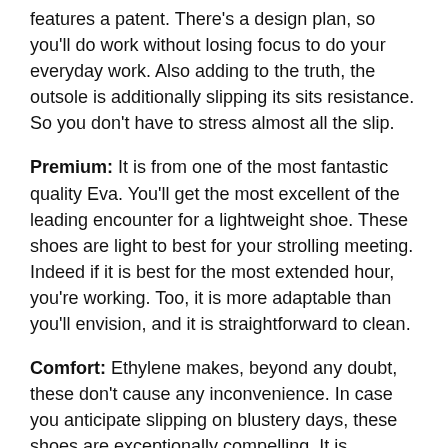features a patent. There's a design plan, so you'll do work without losing focus to do your everyday work. Also adding to the truth, the outsole is additionally slipping its sits resistance. So you don't have to stress almost all the slip.
Premium: It is from one of the most fantastic quality Eva. You'll get the most excellent of the leading encounter for a lightweight shoe. These shoes are light to best for your strolling meeting. Indeed if it is best for the most extended hour, you're working. Too, it is more adaptable than you'll envision, and it is straightforward to clean.
Comfort: Ethylene makes, beyond any doubt, these don't cause any inconvenience. In case you anticipate slipping on blustery days, these shoes are exceptionally compelling. It is incredible for medical caretakers and indeed plant specialists fair for ease. Male and female both can wear these for comfort.
Specifications: